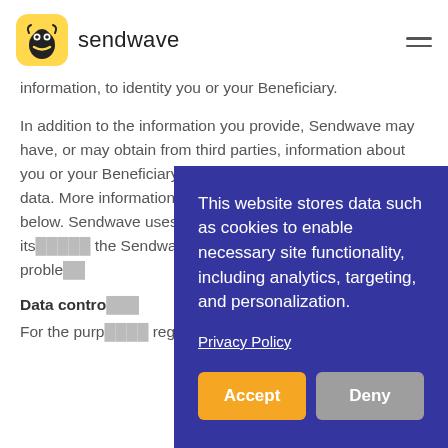sendwave
information, to identity you or your Beneficiary.
In addition to the information you provide, Sendwave may have, or may obtain from third parties, information about you or your Beneficiary, some of which may be personal data. More information about these third parties appears below. Sendwave uses this information to provide its [services], [protect] the Sendwave [app/service], public from [fraud and] other proble[ms].
Data contro[ller]
For the purp[oses of applicable data protection] regulations, [the data controller] depends on w[here you are located].
This website stores data such as cookies to enable necessary site functionality, including analytics, targeting, and personalization.

Privacy Policy

Accept   Deny